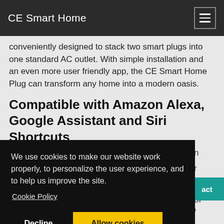CE Smart Home
conveniently designed to stack two smart plugs into one standard AC outlet. With simple installation and an even more user friendly app, the CE Smart Home Plug can transform any home into a modern oasis.
Compatible with Amazon Alexa, Google Assistant and Siri Shortcuts
We use cookies to make our website work properly, to personalize the user experience, and to help us improve the site.
Cookie Policy
Decline   Allow cookies
Having the ability to set your outlets to a schedule gives